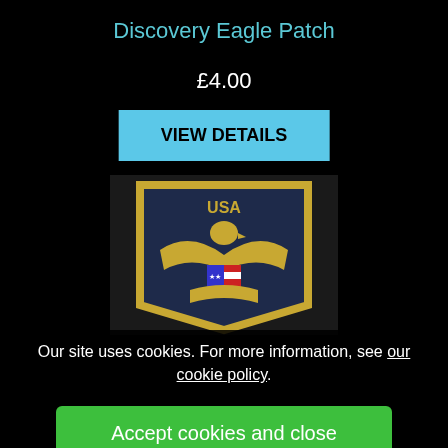Discovery Eagle Patch
£4.00
VIEW DETAILS
[Figure (photo): Photo of an embroidered patch on dark fabric showing a USA eagle emblem with shield and wings in gold thread, with an American flag motif on the chest.]
Our site uses cookies. For more information, see our cookie policy.
Accept cookies and close
Reject cookies
Manage settings